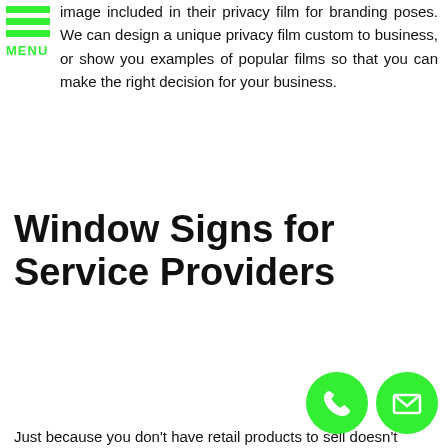[Figure (other): Green hamburger menu icon with three green horizontal bars and green MENU text label]
image included in their privacy film for branding poses. We can design a unique privacy film custom to business, or show you examples of popular films so that you can make the right decision for your business.
Window Signs for Service Providers
Just because you don't have retail products to sell doesn't
[Figure (other): Two green circular contact icons: a phone icon and an envelope/mail icon]